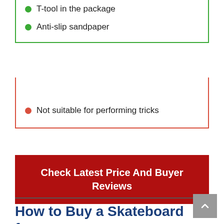T-tool in the package
Anti-slip sandpaper
Cons
Not suitable for performing tricks
Check Latest Price And Buyer Reviews
How to Buy a Skateboard for Girl Beginners